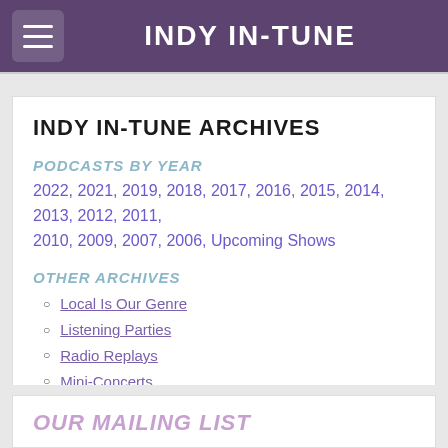INDY IN-TUNE
INDY IN-TUNE ARCHIVES
PODCASTS BY YEAR
2022, 2021, 2019, 2018, 2017, 2016, 2015, 2014, 2013, 2012, 2011, 2010, 2009, 2007, 2006, Upcoming Shows
OTHER ARCHIVES
Local Is Our Genre
Listening Parties
Radio Replays
Mini-Concerts
Studio B Exclusives
OUR MAILING LIST